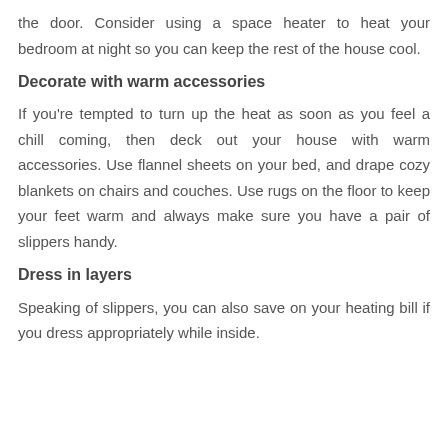the door. Consider using a space heater to heat your bedroom at night so you can keep the rest of the house cool.
Decorate with warm accessories
If you're tempted to turn up the heat as soon as you feel a chill coming, then deck out your house with warm accessories. Use flannel sheets on your bed, and drape cozy blankets on chairs and couches. Use rugs on the floor to keep your feet warm and always make sure you have a pair of slippers handy.
Dress in layers
Speaking of slippers, you can also save on your heating bill if you dress appropriately while inside.